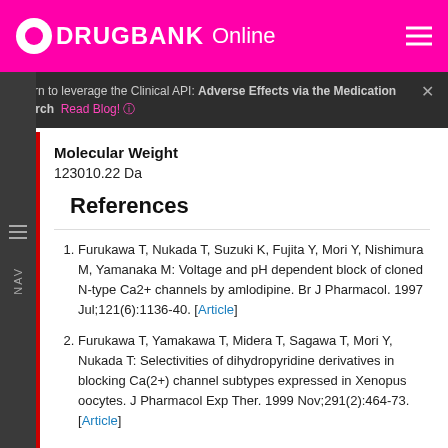DRUGBANK Online
Learn to leverage the Clinical API: Adverse Effects via the Medication Search  Read Blog!
Molecular Weight
123010.22 Da
References
1. Furukawa T, Nukada T, Suzuki K, Fujita Y, Mori Y, Nishimura M, Yamanaka M: Voltage and pH dependent block of cloned N-type Ca2+ channels by amlodipine. Br J Pharmacol. 1997 Jul;121(6):1136-40. [Article]
2. Furukawa T, Yamakawa T, Midera T, Sagawa T, Mori Y, Nukada T: Selectivities of dihydropyridine derivatives in blocking Ca(2+) channel subtypes expressed in Xenopus oocytes. J Pharmacol Exp Ther. 1999 Nov;291(2):464-73. [Article]